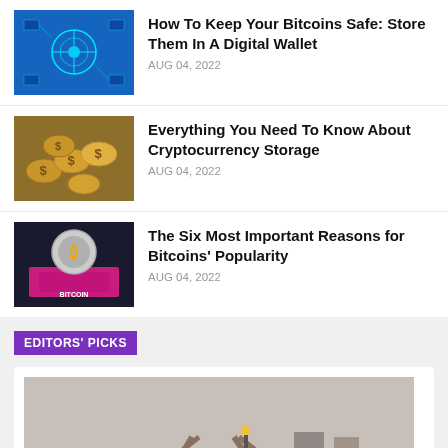[Figure (photo): Blue circuit board digital technology thumbnail]
How To Keep Your Bitcoins Safe: Store Them In A Digital Wallet
AUG 04, 2022
[Figure (photo): Gold coins cryptocurrency thumbnail]
Everything You Need To Know About Cryptocurrency Storage
AUG 04, 2022
[Figure (photo): Bitcoin coin on dark background thumbnail]
The Six Most Important Reasons for Bitcoins' Popularity
AUG 04, 2022
EDITORS' PICKS
[Figure (photo): Railway tracks converging, perspective view with green weeds and yellow flowers alongside]